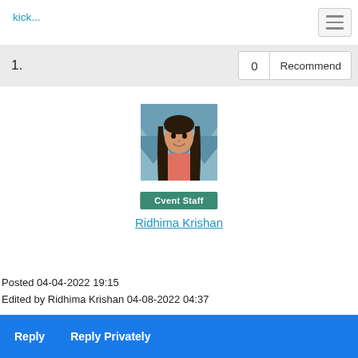kick...
1.
0  Recommend
[Figure (photo): Profile photo of Ridhima Krishan – a young woman with long dark hair wearing a pink top, standing in front of a colorful zigzag-patterned background]
Cvent Staff
Ridhima Krishan
Posted 04-04-2022 19:15
Edited by Ridhima Krishan 04-08-2022 04:37
Reply   Reply Privately